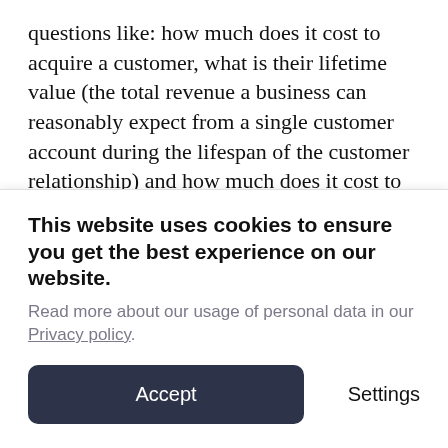questions like: how much does it cost to acquire a customer, what is their lifetime value (the total revenue a business can reasonably expect from a single customer account during the lifespan of the customer relationship) and how much does it cost to serve each customer? Startups are often unprofitable in the beginning and when scaling the business, but one should have a clear idea how to eventually become profitable.
This website uses cookies to ensure you get the best experience on our website.
Read more about our usage of personal data in our Privacy policy.
Accept
Settings